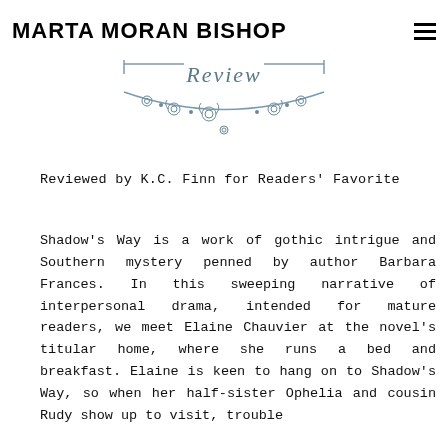MARTA MORAN BISHOP
[Figure (illustration): Decorative ornamental banner with the word 'Review' in stylized gothic font, underlined by an ornate scrollwork border with curling flourishes]
Reviewed by K.C. Finn for Readers' Favorite
Shadow's Way is a work of gothic intrigue and Southern mystery penned by author Barbara Frances. In this sweeping narrative of interpersonal drama, intended for mature readers, we meet Elaine Chauvier at the novel's titular home, where she runs a bed and breakfast. Elaine is keen to hang on to Shadow's Way, so when her half-sister Ophelia and cousin Rudy show up to visit, trouble